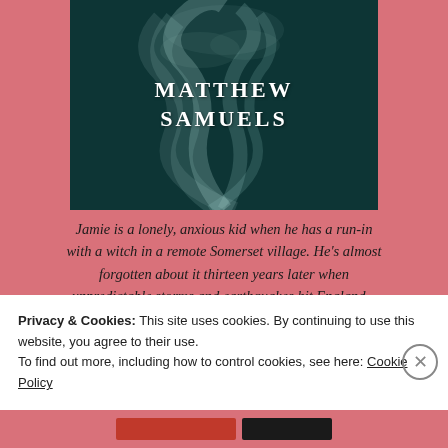[Figure (illustration): Book cover with dark teal smoky background showing the author name MATTHEW SAMUELS in large white serif letters]
Jamie is a lonely, anxious kid when he has a run-in with a witch in a remote Somerset village. He's almost forgotten about it thirteen years later when unpredictable storms and earthquakes hit England – and that's the least of his worries. Suffering from anxiety, terrible flatmates and returning to his family home after his mother is diagnosed with cancer, he's got a lot on his mind. But Melusine, the witch of flesh and blood,
Privacy & Cookies: This site uses cookies. By continuing to use this website, you agree to their use.
To find out more, including how to control cookies, see here: Cookie Policy
Close and accept